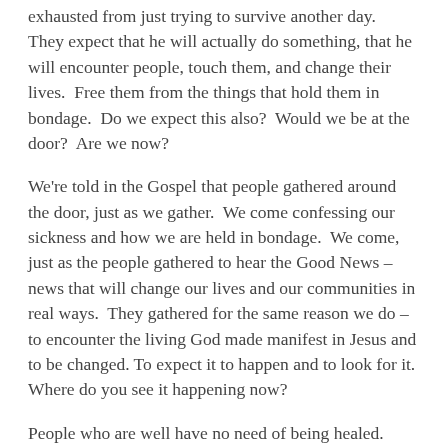exhausted from just trying to survive another day.  They expect that he will actually do something, that he will encounter people, touch them, and change their lives.  Free them from the things that hold them in bondage.  Do we expect this also?  Would we be at the door?  Are we now?
We're told in the Gospel that people gathered around the door, just as we gather.  We come confessing our sickness and how we are held in bondage.  We come, just as the people gathered to hear the Good News – news that will change our lives and our communities in real ways.  They gathered for the same reason we do – to encounter the living God made manifest in Jesus and to be changed. To expect it to happen and to look for it.  Where do you see it happening now?
People who are well have no need of being healed.  People who are well, have no need of being set free.  People who are doing just fine have no need